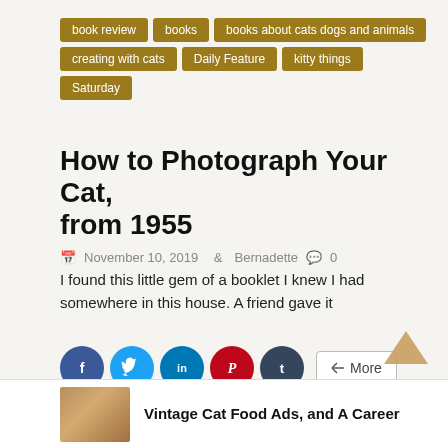book review
books
books about cats dogs and animals
creating with cats
Daily Feature
kitty things
Saturday
How to Photograph Your Cat, from 1955
November 10, 2019   Bernadette   0
I found this little gem of a booklet I knew I had somewhere in this house. A friend gave it
[Figure (infographic): Social share buttons row: Facebook (blue circle), Twitter (light blue circle), LinkedIn (blue circle), Pinterest (red circle), Tumblr (dark blue circle), and a More button]
Like this:
[Figure (infographic): Like button and three blogger avatar thumbnail images]
3 bloggers like this.
[Figure (photo): Cat photo thumbnail at bottom left]
Vintage Cat Food Ads, and A Career